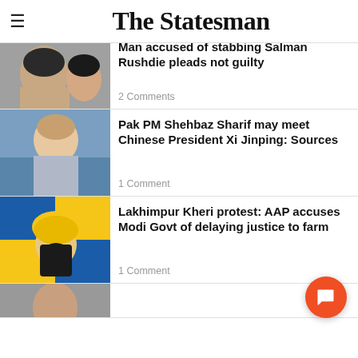The Statesman
Man accused of stabbing Salman Rushdie pleads not guilty
2 Comments
Pak PM Shehbaz Sharif may meet Chinese President Xi Jinping: Sources
1 Comment
Lakhimpur Kheri protest: AAP accuses Modi Govt of delaying justice to farm
1 Comment